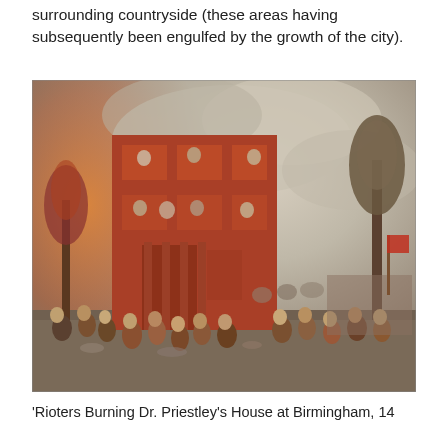surrounding countryside (these areas having subsequently been engulfed by the growth of the city).
[Figure (illustration): Historical oil painting depicting a crowd of rioters in front of a large burning red-brick building. Figures are throwing objects from windows, and a large crowd gathers in the foreground and background amid dramatic smoky skies and trees.]
'Rioters Burning Dr. Priestley's House at Birmingham, 14